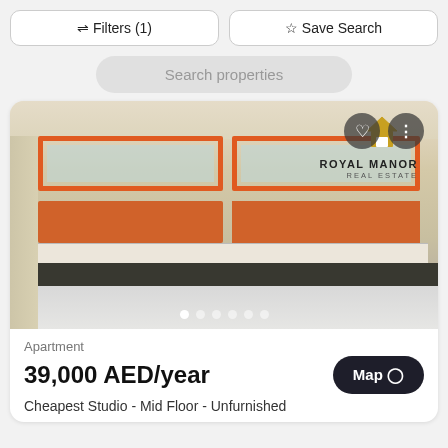⇌ Filters (1)
☆ Save Search
Search properties
[Figure (photo): Interior photo of an apartment kitchen with orange upper and lower cabinets, dark countertop, tiled backsplash, and cream-colored walls. Royal Manor Real Estate logo visible in top right corner.]
Apartment
39,000 AED/year
Map
Cheapest Studio - Mid Floor - Unfurnished